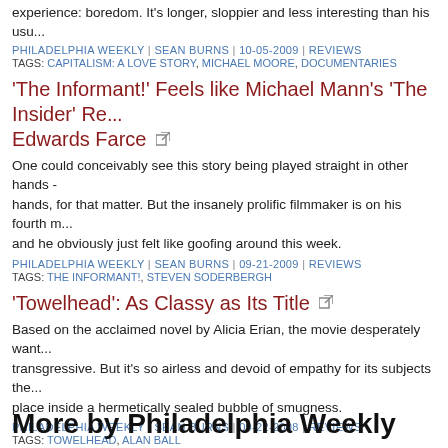experience: boredom. It's longer, sloppier and less interesting than his usu...
PHILADELPHIA WEEKLY | SEAN BURNS | 10-05-2009 | REVIEWS
TAGS: CAPITALISM: A LOVE STORY, MICHAEL MOORE, DOCUMENTARIES
'The Informant!' Feels like Michael Mann's 'The Insider' Re... Edwards Farce
One could conceivably see this story being played straight in other hands - hands, for that matter. But the insanely prolific filmmaker is on his fourth m... and he obviously just felt like goofing around this week.
PHILADELPHIA WEEKLY | SEAN BURNS | 09-21-2009 | REVIEWS
TAGS: THE INFORMANT!, STEVEN SODERBERGH
'Towelhead': As Classy as Its Title
Based on the acclaimed novel by Alicia Erian, the movie desperately want... transgressive. But it's so airless and devoid of empathy for its subjects the... place inside a hermetically sealed bubble of smugness.
PHILADELPHIA WEEKLY | SEAN BURNS | 09-22-2008 | REVIEWS
TAGS: TOWELHEAD, ALAN BALL
More by Philadelphia Weekly